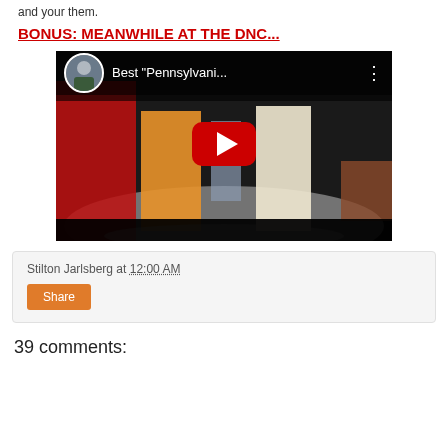and your them.
BONUS: MEANWHILE AT THE DNC...
[Figure (screenshot): YouTube video thumbnail showing two dancers in orange outfits on a TV show set, with a circular avatar of a man in a suit in the top-left corner, video title reading 'Best "Pennsylvani..."', and a red YouTube play button overlay on a dark background.]
Stilton Jarlsberg at 12:00 AM
Share
39 comments: